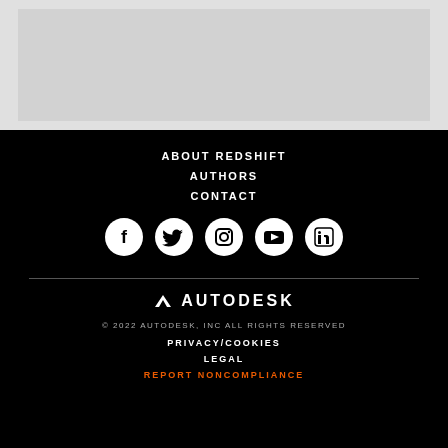[Figure (other): Light gray image placeholder box at the top of the page]
ABOUT REDSHIFT
AUTHORS
CONTACT
[Figure (other): Social media icons: Facebook, Twitter, Instagram, YouTube, LinkedIn]
[Figure (logo): Autodesk logo with arrow icon and AUTODESK text in white]
© 2022 AUTODESK, INC ALL RIGHTS RESERVED
PRIVACY/COOKIES
LEGAL
REPORT NONCOMPLIANCE